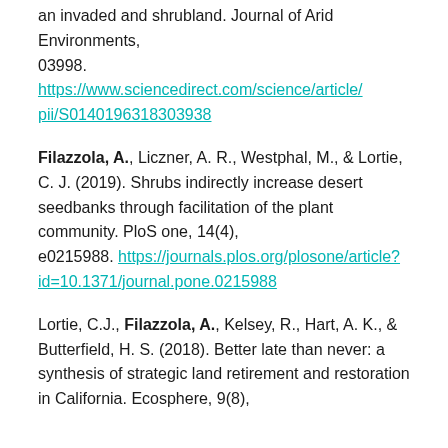an invaded and shrubland. Journal of Arid Environments, 03998. https://www.sciencedirect.com/science/article/pii/S0140196318303938
Filazzola, A., Liczner, A. R., Westphal, M., & Lortie, C. J. (2019). Shrubs indirectly increase desert seedbanks through facilitation of the plant community. PloS one, 14(4), e0215988. https://journals.plos.org/plosone/article?id=10.1371/journal.pone.0215988
Lortie, C.J., Filazzola, A., Kelsey, R., Hart, A. K., & Butterfield, H. S. (2018). Better late than never: a synthesis of strategic land retirement and restoration in California. Ecosphere, 9(8),